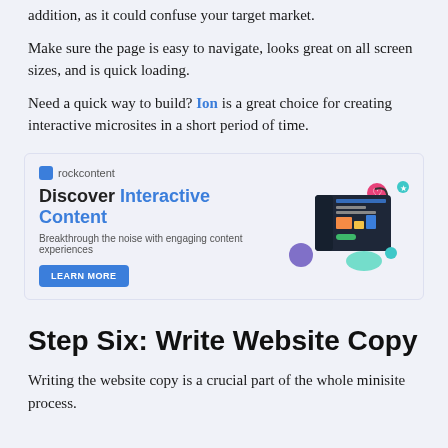addition, as it could confuse your target market.
Make sure the page is easy to navigate, looks great on all screen sizes, and is quick loading.
Need a quick way to build? Ion is a great choice for creating interactive microsites in a short period of time.
[Figure (infographic): Rock Content advertisement banner: 'Discover Interactive Content — Breakthrough the noise with engaging content experiences' with a LEARN MORE button and a screenshot of an interactive content dashboard on the right side, decorated with colorful icons.]
Step Six: Write Website Copy
Writing the website copy is a crucial part of the whole minisite process.